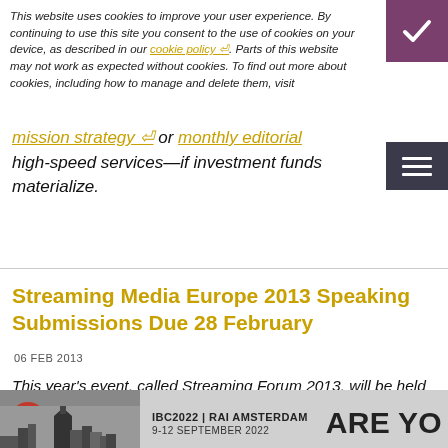This website uses cookies to improve your user experience. By continuing to use this site you consent to the use of cookies on your device, as described in our cookie policy. Parts of this website may not work as expected without cookies. To find out more about cookies, including how to manage and delete them, visit
high-speed services—if investment funds materialize.
Streaming Media Europe 2013 Speaking Submissions Due 28 February
06 FEB 2013
This year's event, called Streaming Forum 2013, will be held in London in June, so get your speaking proposals in soon. We're especially interested in case studies from the corporate, education, sport, and entertainment verticals.
[Figure (infographic): IBC2022 | RAI AMSTERDAM 9-12 SEPTEMBER 2022 banner with cityscape and ARE YO text partially visible]